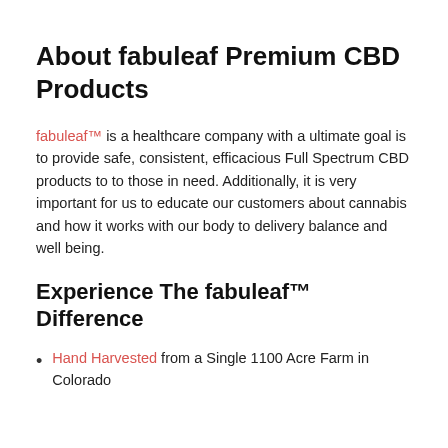About fabuleaf Premium CBD Products
fabuleaf™ is a healthcare company with a ultimate goal is to provide safe, consistent, efficacious Full Spectrum CBD products to to those in need. Additionally, it is very important for us to educate our customers about cannabis and how it works with our body to delivery balance and well being.
Experience The fabuleaf™ Difference
Hand Harvested from a Single 1100 Acre Farm in Colorado